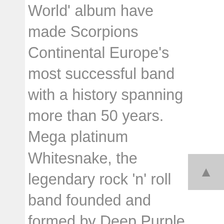World' album have made Scorpions Continental Europe's most successful band with a history spanning more than 50 years. Mega platinum Whitesnake, the legendary rock 'n' roll band founded and formed by Deep Purple singer and Rock and Roll Hall Of Famer David Coverdale are proud to announce the continuation of the 2019 "Flesh & Blood" World Tour into 2020. Following the global success of the "Flesh & Blood" album Whitesnake has played 55 shows in 24 countries to over 600,000 fans.